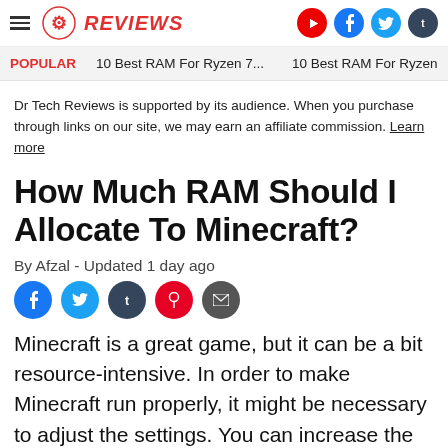Dr Tech Reviews — navigation header with logo and social icons
POPULAR   10 Best RAM For Ryzen 7...   10 Best RAM For Ryzen
Dr Tech Reviews is supported by its audience. When you purchase through links on our site, we may earn an affiliate commission. Learn more
How Much RAM Should I Allocate To Minecraft?
By Afzal - Updated 1 day ago
Minecraft is a great game, but it can be a bit resource-intensive. In order to make Minecraft run properly, it might be necessary to adjust the settings. You can increase the amount of RAM Minecraft uses. How much RAM you need depends